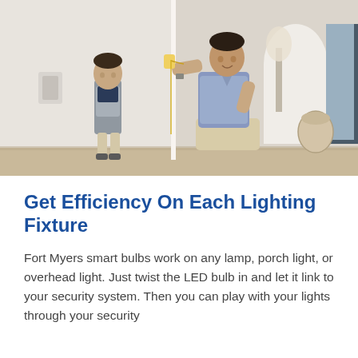[Figure (photo): A father kneeling down measuring the height of a young boy against an interior wall using a tape measure. The room has white walls and an open hallway in the background.]
Get Efficiency On Each Lighting Fixture
Fort Myers smart bulbs work on any lamp, porch light, or overhead light. Just twist the LED bulb in and let it link to your security system. Then you can play with your lights through your security